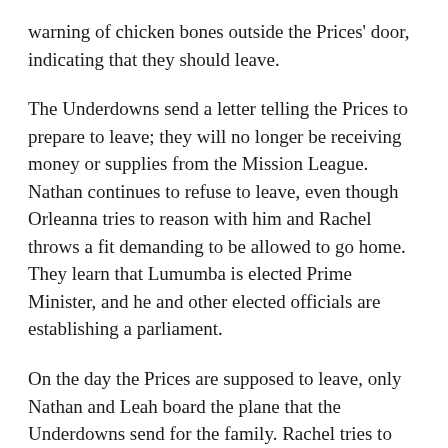warning of chicken bones outside the Prices' door, indicating that they should leave.
The Underdowns send a letter telling the Prices to prepare to leave; they will no longer be receiving money or supplies from the Mission League. Nathan continues to refuse to leave, even though Orleanna tries to reason with him and Rachel throws a fit demanding to be allowed to go home. They learn that Lumumba is elected Prime Minister, and he and other elected officials are establishing a parliament.
On the day the Prices are supposed to leave, only Nathan and Leah board the plane that the Underdowns send for the family. Rachel tries to climb on, but Nathan pushes her back. After the plane flies away, Orleanna goes back to the house and crawls into bed. After a while, Ruth May climbs into bed with her.